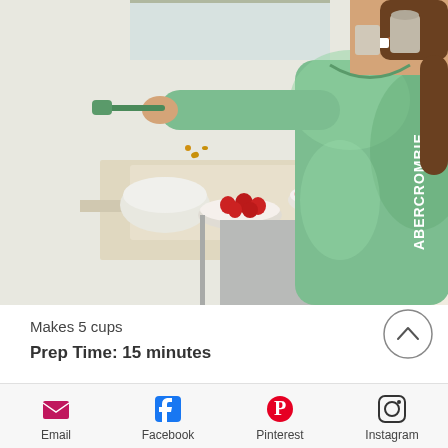[Figure (photo): A child wearing a green and white Abercrombie tie-dye long-sleeve shirt standing at a kitchen counter, smiling, with bowls of food and strawberries in front of her.]
Makes 5 cups
Prep Time: 15 minutes
Email  Facebook  Pinterest  Instagram